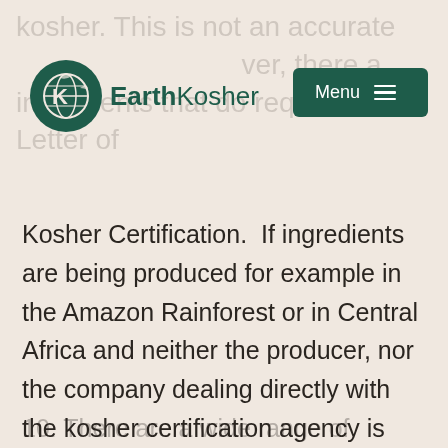EarthKosher — Menu
kosher. This is not an accurate ... however, there are ... ingredients that do require a Letter of
Kosher Certification.  If ingredients are being produced for example in the Amazon Rainforest or in Central Africa and neither the producer, nor the company dealing directly with the kosher certification agency is willing to pay for the the kosher certification process this can be an obvious deal breaker.
10. There are a wide range of